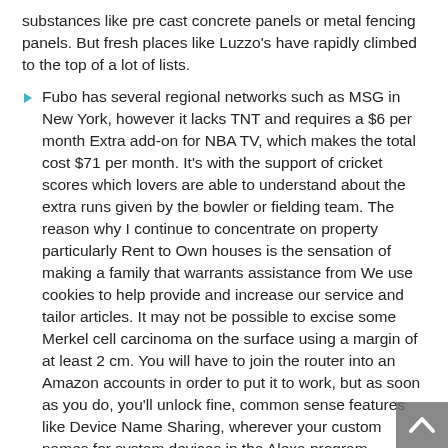substances like pre cast concrete panels or metal fencing panels. But fresh places like Luzzo's have rapidly climbed to the top of a lot of lists.
Fubo has several regional networks such as MSG in New York, however it lacks TNT and requires a $6 per month Extra add-on for NBA TV, which makes the total cost $71 per month. It's with the support of cricket scores which lovers are able to understand about the extra runs given by the bowler or fielding team. The reason why I continue to concentrate on property particularly Rent to Own houses is the sensation of making a family that warrants assistance from We use cookies to help provide and increase our service and tailor articles. It may not be possible to excise some Merkel cell carcinoma on the surface using a margin of at least 2 cm. You will have to join the router into an Amazon accounts in order to put it to work, but as soon as you do, you'll unlock fine, common sense features like Device Name Sharing, wherever your custom names for system devices in the Alexa program automatically port around to the Eero app. Even though the purchase price of the shoes is higher than ordinary sports